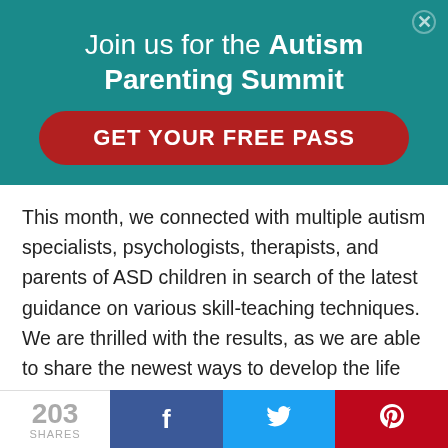Join us for the Autism Parenting Summit
GET YOUR FREE PASS
This month, we connected with multiple autism specialists, psychologists, therapists, and parents of ASD children in search of the latest guidance on various skill-teaching techniques. We are thrilled with the results, as we are able to share the newest ways to develop the life skills your autistic child needs. This is an issue you won't want to
203 SHARES